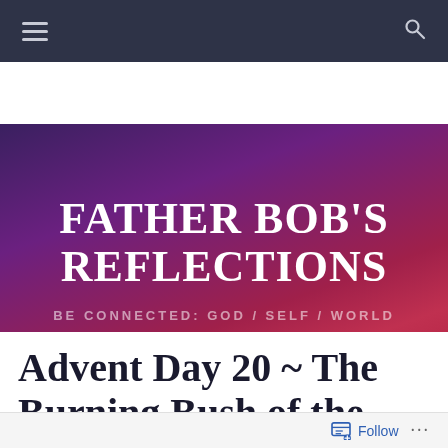[Figure (illustration): Website banner with purple-to-red gradient background. Contains site title 'FATHER BOB'S REFLECTIONS' in large bold white uppercase serif text, and subtitle 'BE CONNECTED: GOD / SELF / WORLD' in small spaced uppercase letters.]
Advent Day 20 ~ The Burning Bush of the World
Follow ...